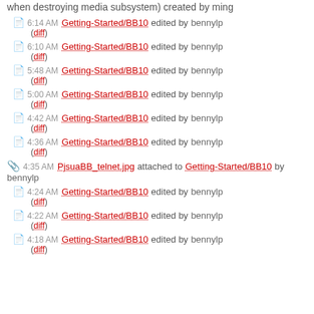when destroying media subsystem) created by ming
6:14 AM Getting-Started/BB10 edited by bennylp (diff)
6:10 AM Getting-Started/BB10 edited by bennylp (diff)
5:48 AM Getting-Started/BB10 edited by bennylp (diff)
5:00 AM Getting-Started/BB10 edited by bennylp (diff)
4:42 AM Getting-Started/BB10 edited by bennylp (diff)
4:36 AM Getting-Started/BB10 edited by bennylp (diff)
4:35 AM PjsuaBB_telnet.jpg attached to Getting-Started/BB10 by bennylp
4:24 AM Getting-Started/BB10 edited by bennylp (diff)
4:22 AM Getting-Started/BB10 edited by bennylp (diff)
4:18 AM Getting-Started/BB10 edited by bennylp (diff)